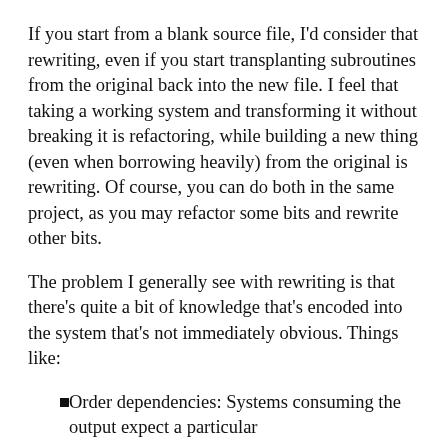If you start from a blank source file, I'd consider that rewriting, even if you start transplanting subroutines from the original back into the new file. I feel that taking a working system and transforming it without breaking it is refactoring, while building a new thing (even when borrowing heavily) from the original is rewriting. Of course, you can do both in the same project, as you may refactor some bits and rewrite other bits.
The problem I generally see with rewriting is that there's quite a bit of knowledge that's encoded into the system that's not immediately obvious. Things like:
Order dependencies: Systems consuming the output expect a particular